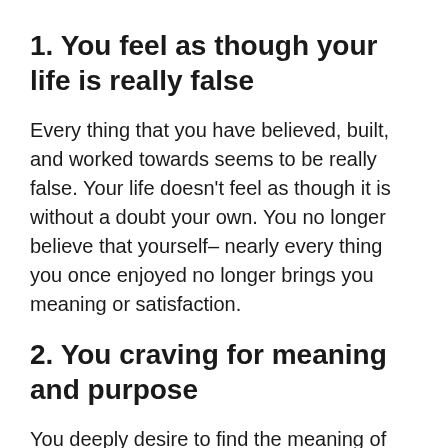1. You feel as though your life is really false
Every thing that you have believed, built, and worked towards seems to be really false. Your life doesn't feel as though it is without a doubt your own. You no longer believe that yourself– nearly every thing you once enjoyed no longer brings you meaning or satisfaction.
2. You craving for meaning and purpose
You deeply desire to find the meaning of your life. You have no idea what your purpose is actually, but you want to find it